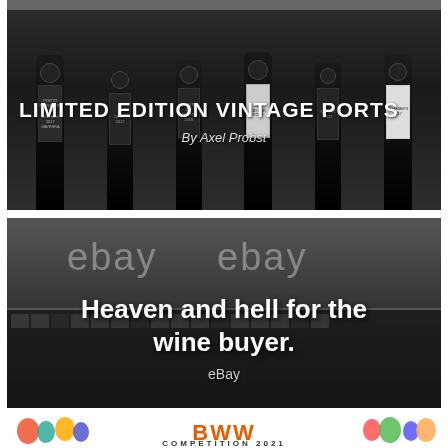[Figure (photo): Partial top of a photograph, dark/grey, appears to be cut off at top of viewport]
[Figure (photo): Black and white photo of multiple Port wine bottles lined up, with text overlay 'LIMITED EDITION VINTAGE PORTS' and 'By Axel Probst']
LIMITED EDITION VINTAGE PORTS
By Axel Probst
[Figure (photo): Black and white photo of eBay building exterior with large eBay logos, with text overlay 'Heaven and hell for the wine buyer.' and 'eBay']
Heaven and hell for the wine buyer.
eBay
[Figure (photo): Colorful BWW competition banner with balloons and orange letters, partially visible at bottom]